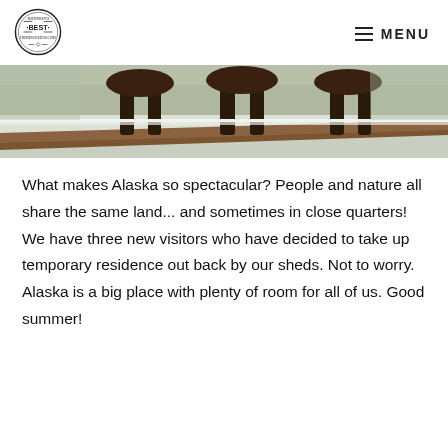Johnson's Best Home Screens logo | MENU
[Figure (photo): A wide cropped photo showing the legs and lower bodies of three moose standing in a snowy outdoor area near what appears to be a wooden structure or fence, with frosted vegetation in the background.]
What makes Alaska so spectacular? People and nature all share the same land... and sometimes in close quarters! We have three new visitors who have decided to take up temporary residence out back by our sheds. Not to worry. Alaska is a big place with plenty of room for all of us. Good summer!